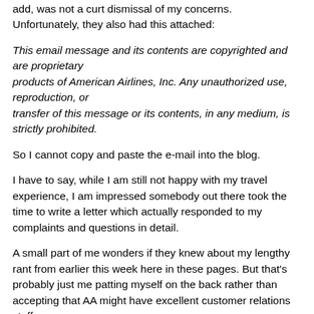American Airlines sent me a lengthy letter, which, I might add, was not a curt dismissal of my concerns. Unfortunately, they also had this attached:
This email message and its contents are copyrighted and are proprietary products of American Airlines, Inc. Any unauthorized use, reproduction, or transfer of this message or its contents, in any medium, is strictly prohibited.
So I cannot copy and paste the e-mail into the blog.
I have to say, while I am still not happy with my travel experience, I am impressed somebody out there took the time to write a letter which actually responded to my complaints and questions in detail.
A small part of me wonders if they knew about my lengthy rant from earlier this week here in these pages. But that's probably just me patting myself on the back rather than accepting that AA might have excellent customer relations staff.